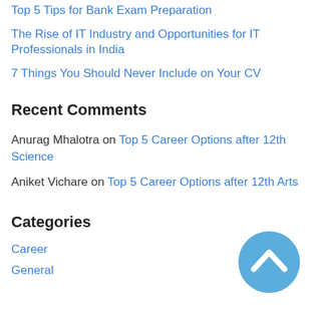Top 5 Tips for Bank Exam Preparation
The Rise of IT Industry and Opportunities for IT Professionals in India
7 Things You Should Never Include on Your CV
Recent Comments
Anurag Mhalotra on Top 5 Career Options after 12th Science
Aniket Vichare on Top 5 Career Options after 12th Arts
Categories
Career
General